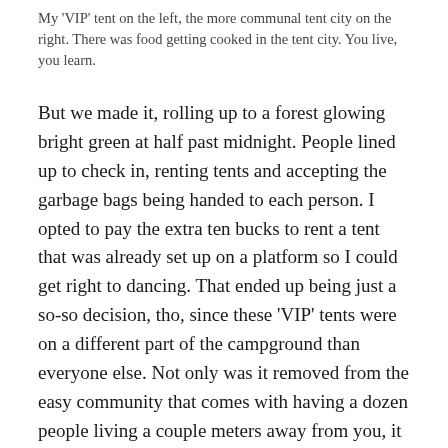My 'VIP' tent on the left, the more communal tent city on the right. There was food getting cooked in the tent city. You live, you learn.
But we made it, rolling up to a forest glowing bright green at half past midnight. People lined up to check in, renting tents and accepting the garbage bags being handed to each person. I opted to pay the extra ten bucks to rent a tent that was already set up on a platform so I could get right to dancing. That ended up being just a so-so decision, tho, since these 'VIP' tents were on a different part of the campground than everyone else. Not only was it removed from the easy community that comes with having a dozen people living a couple meters away from you, it was a lot closer to the main stage and the loudspeakers, which is pretty VIP until you want to sleep. In the morning when I was looking for a water kettle to cook my cup of noodles, I saw campers gathered in the walkways with propane hot